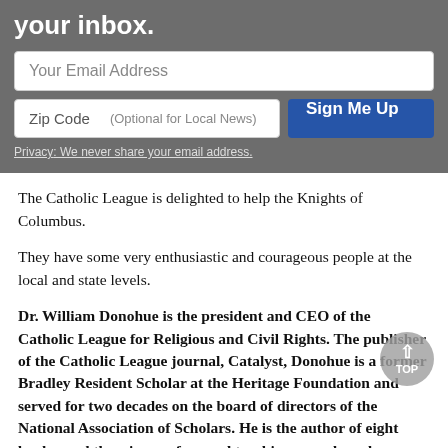[Figure (screenshot): Email signup form with gray background, email address input, zip code input, Sign Me Up button, and privacy notice]
The Catholic League is delighted to help the Knights of Columbus.
They have some very enthusiastic and courageous people at the local and state levels.
Dr. William Donohue is the president and CEO of the Catholic League for Religious and Civil Rights. The publisher of the Catholic League journal, Catalyst, Donohue is a former Bradley Resident Scholar at the Heritage Foundation and served for two decades on the board of directors of the National Association of Scholars. He is the author of eight books, and the winner of several teaching awards and many awards from the Catholic community. Read Bill Donohue's Reports — More Here.
Posts by Bill Donohue